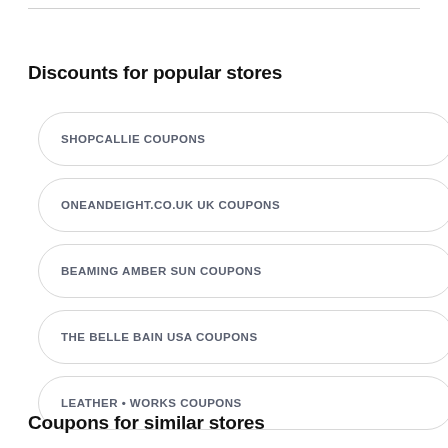Discounts for popular stores
SHOPCALLIE COUPONS
ONEANDEIGHT.CO.UK UK COUPONS
BEAMING AMBER SUN COUPONS
THE BELLE BAIN USA COUPONS
LEATHER • WORKS COUPONS
Coupons for similar stores